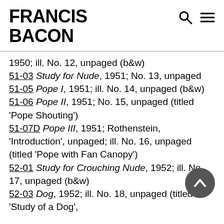FRANCIS BACON
1950; ill. No. 12, unpaged (b&w)
51-03 Study for Nude, 1951; No. 13, unpaged
51-05 Pope I, 1951; ill. No. 14, unpaged (b&w)
51-06 Pope II, 1951; No. 15, unpaged (titled 'Pope Shouting')
51-07D Pope III, 1951; Rothenstein, 'Introduction', unpaged; ill. No. 16, unpaged (titled 'Pope with Fan Canopy')
52-01 Study for Crouching Nude, 1952; ill. No. 17, unpaged (b&w)
52-03 Dog, 1952; ill. No. 18, unpaged (titled 'Study of a Dog',